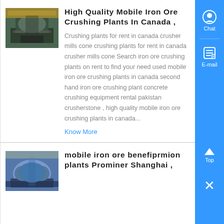[Figure (photo): Industrial crushing plant machinery inside a factory building]
High Quality Mobile Iron Ore Crushing Plants In Canada ,
Crushing plants for rent in canada crusher mills cone crushing plants for rent in canada crusher mills cone Search iron ore crushing plants on rent to find your need used mobile iron ore crushing plants in canada second hand iron ore crushing plant concrete crushing equipment rental pakistan crusherstone , high quality mobile iron ore crushing plants in canada...
Know More
[Figure (photo): Industrial beneficiation plant equipment with large cylindrical machinery]
mobile iron ore benefiprmion plants Prominer Shanghai ,